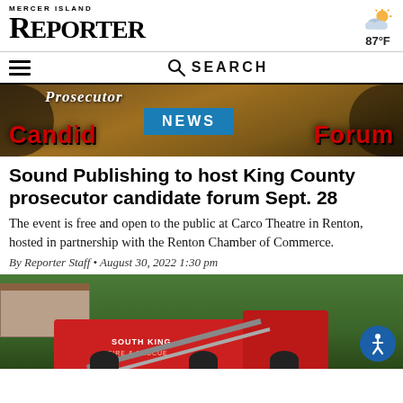MERCER ISLAND REPORTER
[Figure (illustration): Partly cloudy weather icon with sun and clouds, showing 87°F temperature]
[Figure (infographic): Hamburger menu icon (three horizontal lines) and SEARCH bar with magnifying glass icon]
[Figure (photo): Banner image showing 'Prosecutor Candidate Forum' text with red stylized lettering on dark background, with a 'NEWS' blue badge overlay]
Sound Publishing to host King County prosecutor candidate forum Sept. 28
The event is free and open to the public at Carco Theatre in Renton, hosted in partnership with the Renton Chamber of Commerce.
By Reporter Staff • August 30, 2022 1:30 pm
[Figure (photo): Photo of a red South King Fire & Rescue fire truck with ladder extended, parked near trees and a building]